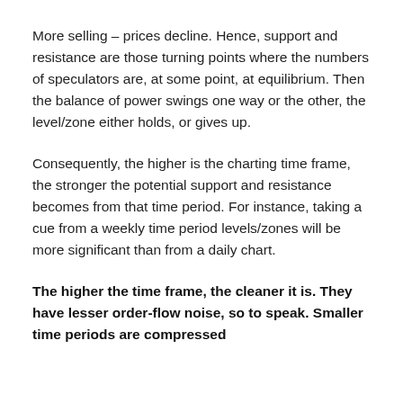More selling – prices decline. Hence, support and resistance are those turning points where the numbers of speculators are, at some point, at equilibrium. Then the balance of power swings one way or the other, the level/zone either holds, or gives up.
Consequently, the higher is the charting time frame, the stronger the potential support and resistance becomes from that time period. For instance, taking a cue from a weekly time period levels/zones will be more significant than from a daily chart.
The higher the time frame, the cleaner it is. They have lesser order-flow noise, so to speak. Smaller time periods are compressed